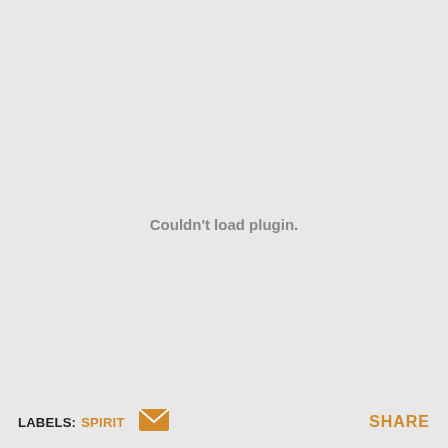Couldn't load plugin.
LABELS: SPIRIT  [mail icon]  SHARE